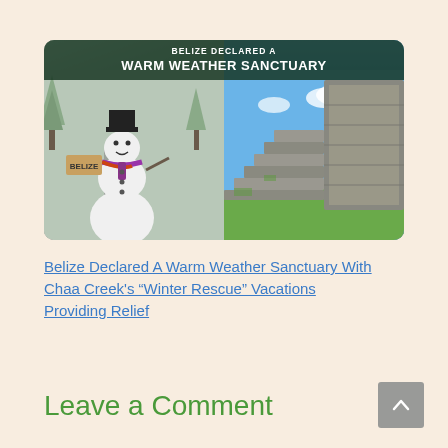[Figure (photo): Split image: left side shows a snowman holding a 'Belize' sign in a wintry scene; right side shows Mayan ruins steps with green hills and blue sky. Overlay text reads 'BELIZE DECLARED A WARM WEATHER SANCTUARY'.]
Belize Declared A Warm Weather Sanctuary With Chaa Creek’s “Winter Rescue” Vacations Providing Relief
Leave a Comment